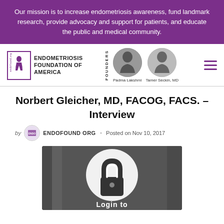Our mission is to increase endometriosis awareness, fund landmark research, provide advocacy and support for patients, and educate the public and medical community.
[Figure (logo): Endometriosis Foundation of America logo with founders Padma Lakshmi and Tamer Seckin, MD]
Norbert Gleicher, MD, FACOG, FACS. - Interview
by ENDOFOUND ORG · Posted on Nov 10, 2017
[Figure (photo): Locked content image with a padlock icon on a white circle over a dark background, and partial text 'Login to' at the bottom]